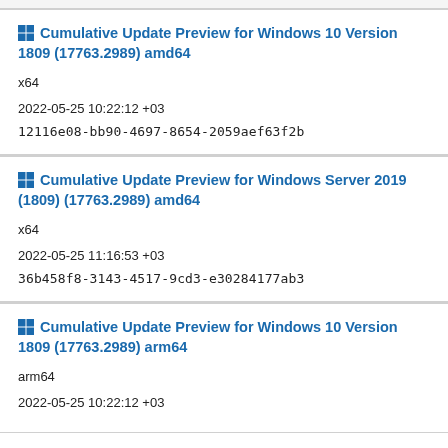Cumulative Update Preview for Windows 10 Version 1809 (17763.2989) amd64
x64
2022-05-25 10:22:12 +03
12116e08-bb90-4697-8654-2059aef63f2b
Cumulative Update Preview for Windows Server 2019 (1809) (17763.2989) amd64
x64
2022-05-25 11:16:53 +03
36b458f8-3143-4517-9cd3-e30284177ab3
Cumulative Update Preview for Windows 10 Version 1809 (17763.2989) arm64
arm64
2022-05-25 10:22:12 +03